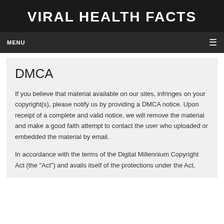VIRAL HEALTH FACTS
MENU
DMCA
If you believe that material available on our sites, infringes on your copyright(s), please notify us by providing a DMCA notice. Upon receipt of a complete and valid notice, we will remove the material and make a good faith attempt to contact the user who uploaded or embedded the material by email.
In accordance with the terms of the Digital Millennium Copyright Act (the "Act") and avails itself of the protections under the Act.